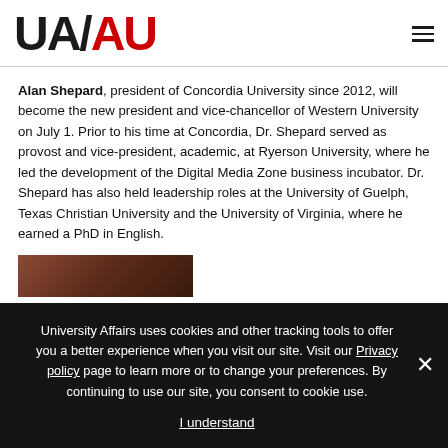UAAU
Alan Shepard, president of Concordia University since 2012, will become the new president and vice-chancellor of Western University on July 1. Prior to his time at Concordia, Dr. Shepard served as provost and vice-president, academic, at Ryerson University, where he led the development of the Digital Media Zone business incubator. Dr. Shepard has also held leadership roles at the University of Guelph, Texas Christian University and the University of Virginia, where he earned a PhD in English.
[Figure (photo): Partial photo of a person, cropped at bottom of visible content area]
University Affairs uses cookies and other tracking tools to offer you a better experience when you visit our site. Visit our Privacy policy page to learn more or to change your preferences. By continuing to use our site, you consent to cookie use.

I understand